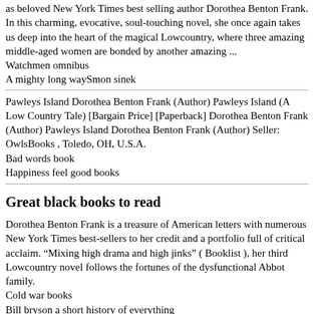as beloved New York Times best selling author Dorothea Benton Frank. In this charming, evocative, soul-touching novel, she once again takes us deep into the heart of the magical Lowcountry, where three amazing middle-aged women are bonded by another amazing ...
Watchmen omnibus
A mighty long waySmon sinek
Pawleys Island Dorothea Benton Frank (Author) Pawleys Island (A Low Country Tale) [Bargain Price] [Paperback] Dorothea Benton Frank (Author) Pawleys Island Dorothea Benton Frank (Author) Seller: OwlsBooks , Toledo, OH, U.S.A.
Bad words book
Happiness feel good books
Great black books to read
Dorothea Benton Frank is a treasure of American letters with numerous New York Times best-sellers to her credit and a portfolio full of critical acclaim. “Mixing high drama and high jinks” ( Booklist ), her third Lowcountry novel follows the fortunes of the dysfunctional Abbot family.
Cold war books
Bill bryson a short history of everything